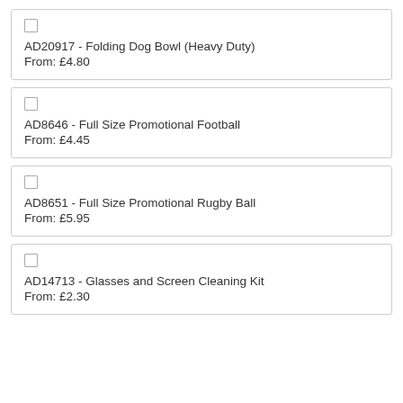AD20917 - Folding Dog Bowl (Heavy Duty)
From: £4.80
AD8646 - Full Size Promotional Football
From: £4.45
AD8651 - Full Size Promotional Rugby Ball
From: £5.95
AD14713 - Glasses and Screen Cleaning Kit
From: £2.30